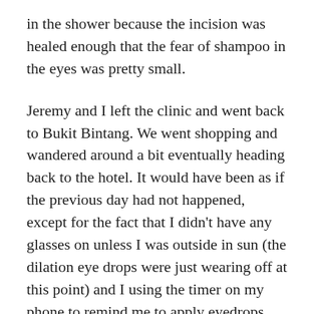in the shower because the incision was healed enough that the fear of shampoo in the eyes was pretty small.
Jeremy and I left the clinic and went back to Bukit Bintang. We went shopping and wandered around a bit eventually heading back to the hotel. It would have been as if the previous day had not happened, except for the fact that I didn't have any glasses on unless I was outside in sun (the dilation eye drops were just wearing off at this point) and I using the timer on my phone to remind me to apply eyedrops every 2 hours.
When we flew home on the Friday (actually Good Friday) I had my extensive supply of Refresh Plus eyedrops in case the plane trip caused a problem with dry eyes, but I was pretty OK. Over the week of using the T I had learnt that for minutes after using the